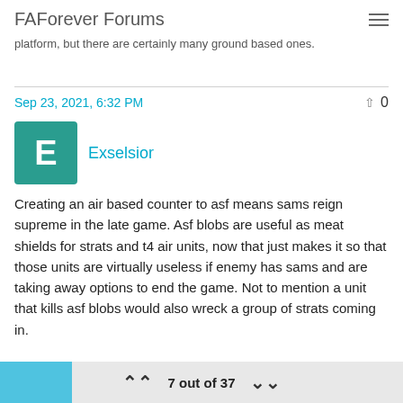FAForever Forums
platform, but there are certainly many ground based ones.
Sep 23, 2021, 6:32 PM
Exselsior
Creating an air based counter to asf means sams reign supreme in the late game. Asf blobs are useful as meat shields for strats and t4 air units, now that just makes it so that those units are virtually useless if enemy has sams and are taking away options to end the game. Not to mention a unit that kills asf blobs would also wreck a group of strats coming in.
7 out of 37